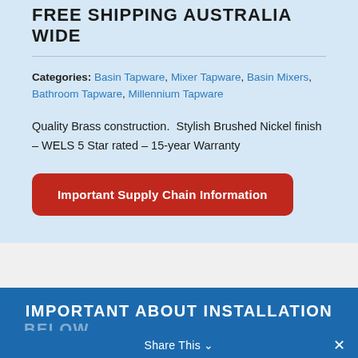FREE SHIPPING AUSTRALIA WIDE
Categories: Basin Tapware, Mixer Tapware, Basin Mixers, Bathroom Tapware, Millennium Tapware
Quality Brass construction.  Stylish Brushed Nickel finish – WELS 5 Star rated – 15-year Warranty
Important Supply Chain Information
IMPORTANT ABOUT INSTALLATION BELOW
If you select our $99 installation service...
Share This ✓  ✕